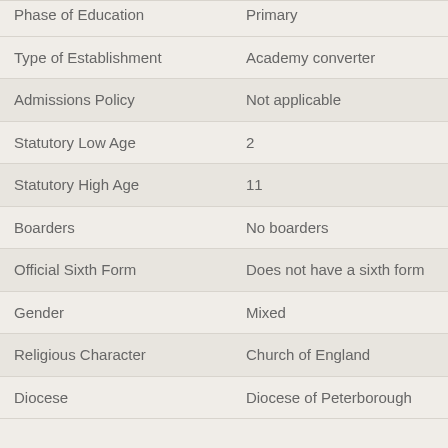| Field | Value |
| --- | --- |
| Phase of Education | Primary |
| Type of Establishment | Academy converter |
| Admissions Policy | Not applicable |
| Statutory Low Age | 2 |
| Statutory High Age | 11 |
| Boarders | No boarders |
| Official Sixth Form | Does not have a sixth form |
| Gender | Mixed |
| Religious Character | Church of England |
| Diocese | Diocese of Peterborough |